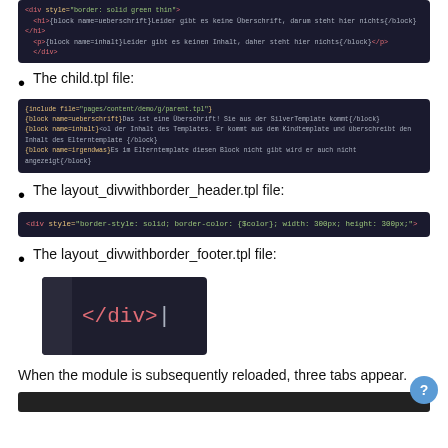[Figure (screenshot): Dark code editor screenshot showing HTML template code with German comments about Überschrift (heading) and Inhalt (content) blocks]
The child.tpl file:
[Figure (screenshot): Dark code editor screenshot showing child template file with block name definitions in German]
The layout_divwithborder_header.tpl file:
[Figure (screenshot): Dark code editor screenshot showing a div tag with border-style: solid; border-color: {$color}; width: 300px; height: 300px;]
The layout_divwithborder_footer.tpl file:
[Figure (screenshot): Dark editor screenshot showing </div> closing tag in pink text on dark background with sidebar]
When the module is subsequently reloaded, three tabs appear.
[Figure (screenshot): Dark code strip at bottom of page (partially visible)]